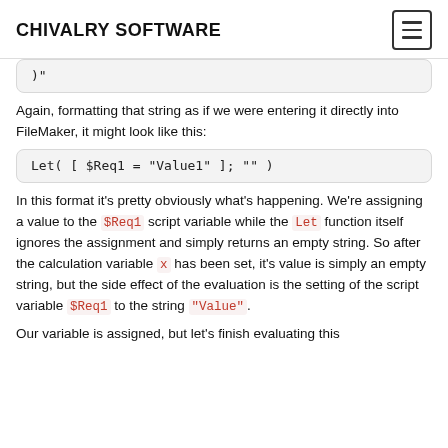CHIVALRY SOFTWARE
[Figure (screenshot): Code block showing: )"]
Again, formatting that string as if we were entering it directly into FileMaker, it might look like this:
[Figure (screenshot): Code block showing: Let( [ $Req1 = "Value1" ]; "" )]
In this format it's pretty obviously what's happening. We're assigning a value to the $Req1 script variable while the Let function itself ignores the assignment and simply returns an empty string. So after the calculation variable x has been set, it's value is simply an empty string, but the side effect of the evaluation is the setting of the script variable $Req1 to the string "Value".
Our variable is assigned, but let's finish evaluating this